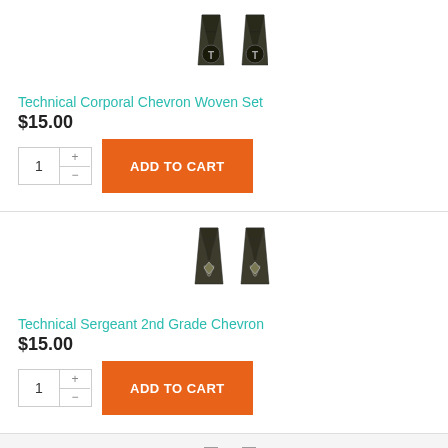[Figure (photo): Two Technical Corporal Chevron woven patches side by side, dark olive/black color with T symbol]
Technical Corporal Chevron Woven Set
$15.00
[Figure (photo): Two Technical Sergeant 2nd Grade Chevron patches side by side, dark olive/black color with diamond shape]
Technical Sergeant 2nd Grade Chevron
$15.00
[Figure (photo): Two chevron patches side by side, partially visible at bottom of page]